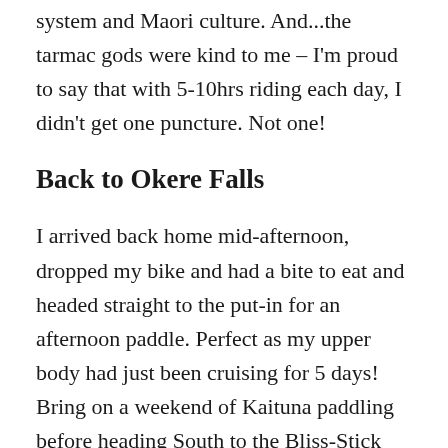system and Maori culture. And...the tarmac gods were kind to me – I'm proud to say that with 5-10hrs riding each day, I didn't get one puncture. Not one!
Back to Okere Falls
I arrived back home mid-afternoon, dropped my bike and had a bite to eat and headed straight to the put-in for an afternoon paddle. Perfect as my upper body had just been cruising for 5 days! Bring on a weekend of Kaituna paddling before heading South to the Bliss-Stick factory near Taihape.